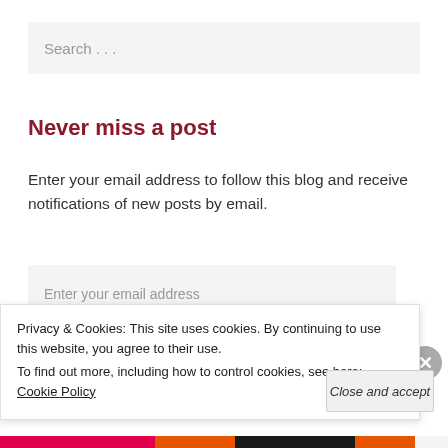Search . . .
Never miss a post
Enter your email address to follow this blog and receive notifications of new posts by email.
Enter your email address
Privacy & Cookies: This site uses cookies. By continuing to use this website, you agree to their use.
To find out more, including how to control cookies, see here: Cookie Policy
Close and accept